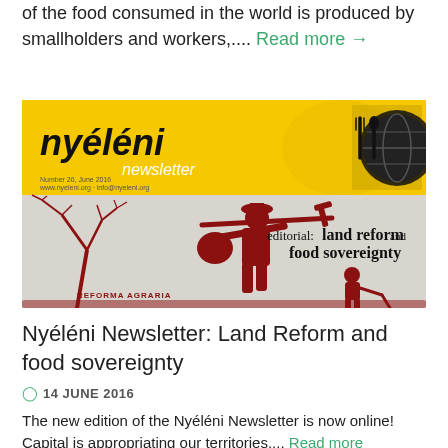of the food consumed in the world is produced by smallholders and workers,.... Read more →
[Figure (illustration): Nyéléni Newsletter cover image showing yellow banner header with 'nyéléni newsletter' text and globe logo, below which is an editorial image with red silhouettes of figures carrying tools and bundles, text reads 'editorial: land reform and food sovereignty', 'REFORMA AGRARIA']
Nyéléni Newsletter: Land Reform and food sovereignty
14 JUNE 2016
The new edition of the Nyéléni Newsletter is now online! Capital is appropriating our territories.... Read more